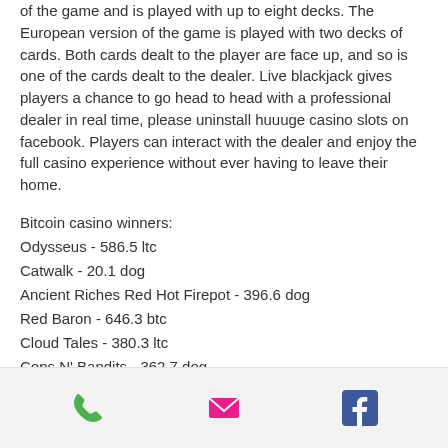of the game and is played with up to eight decks. The European version of the game is played with two decks of cards. Both cards dealt to the player are face up, and so is one of the cards dealt to the dealer. Live blackjack gives players a chance to go head to head with a professional dealer in real time, please uninstall huuuge casino slots on facebook. Players can interact with the dealer and enjoy the full casino experience without ever having to leave their home.
Bitcoin casino winners:
Odysseus - 586.5 ltc
Catwalk - 20.1 dog
Ancient Riches Red Hot Firepot - 396.6 dog
Red Baron - 646.3 btc
Cloud Tales - 380.3 ltc
Cops N' Bandits - 362.7 dog
Underwater World - 116.4 bch
[Figure (other): Bottom navigation bar with phone icon (green), email icon (pink/red), and Facebook icon (blue)]